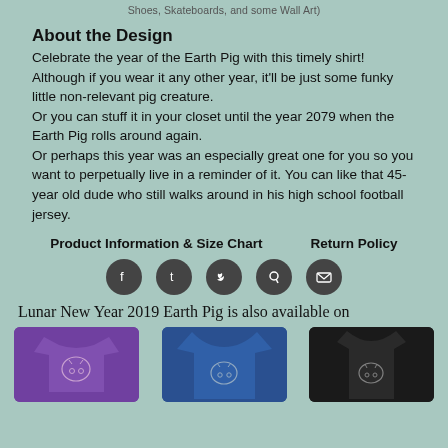Shoes, Skateboards, and some Wall Art)
About the Design
Celebrate the year of the Earth Pig with this timely shirt! Although if you wear it any other year, it'll be just some funky little non-relevant pig creature.
Or you can stuff it in your closet until the year 2079 when the Earth Pig rolls around again.
Or perhaps this year was an especially great one for you so you want to perpetually live in a reminder of it. You can like that 45-year old dude who still walks around in his high school football jersey.
Product Information & Size Chart     Return Policy
[Figure (infographic): Row of 5 social media icon circles (Facebook, Tumblr, Twitter, Pinterest, Email) in dark gray on teal background]
Lunar New Year 2019 Earth Pig is also available on
[Figure (photo): Three product photos showing Earth Pig design on purple t-shirt, blue scoop-neck shirt, and dark tank top]